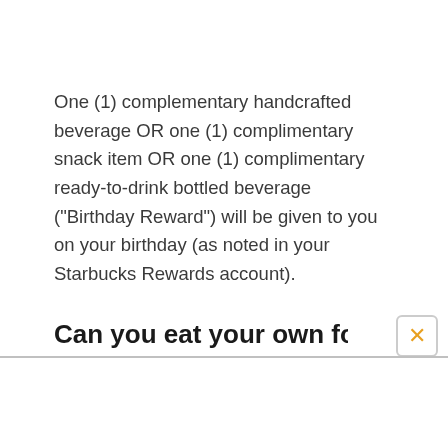One (1) complementary handcrafted beverage OR one (1) complimentary snack item OR one (1) complimentary ready-to-drink bottled beverage ("Birthday Reward") will be given to you on your birthday (as noted in your Starbucks Rewards account).
Can you eat your own food in